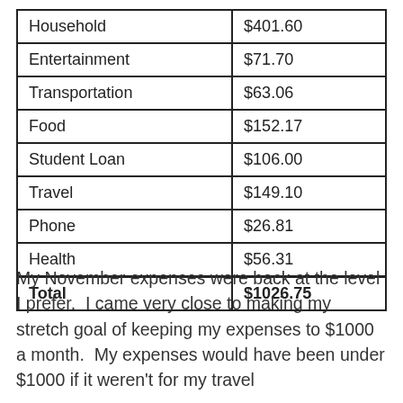| Household | $401.60 |
| Entertainment | $71.70 |
| Transportation | $63.06 |
| Food | $152.17 |
| Student Loan | $106.00 |
| Travel | $149.10 |
| Phone | $26.81 |
| Health | $56.31 |
| Total | $1026.75 |
My November expenses were back at the level I prefer.  I came very close to making my stretch goal of keeping my expenses to $1000 a month.  My expenses would have been under $1000 if it weren't for my travel